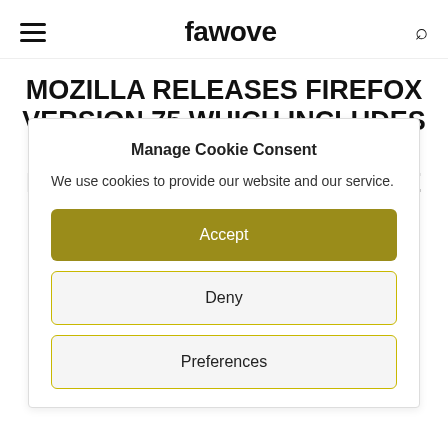fawove
MOZILLA RELEASES FIREFOX VERSION 75 WHICH INCLUDES A MEGAB... ...HATE IT
Manage Cookie Consent
We use cookies to provide our website and our service.
Accept
Deny
Preferences